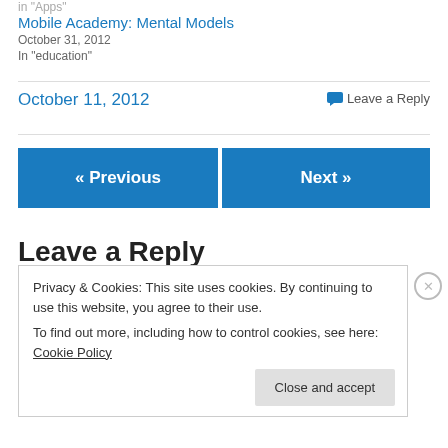in "Apps"
Mobile Academy: Mental Models
October 31, 2012
In "education"
October 11, 2012
💬 Leave a Reply
« Previous
Next »
Leave a Reply
Privacy & Cookies: This site uses cookies. By continuing to use this website, you agree to their use.
To find out more, including how to control cookies, see here: Cookie Policy
Close and accept